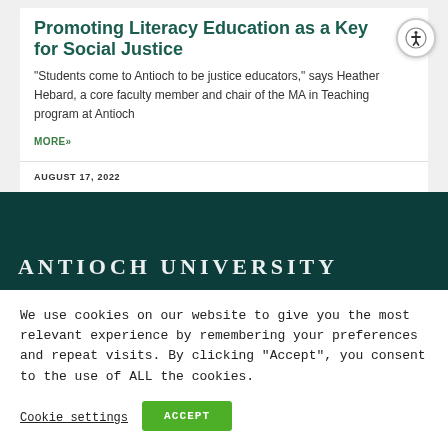Promoting Literacy Education as a Key for Social Justice
“Students come to Antioch to be justice educators,” says Heather Hebard, a core faculty member and chair of the MA in Teaching program at Antioch
MORE»
AUGUST 17, 2022
[Figure (logo): Antioch University logo text in white serif font on dark teal background]
We use cookies on our website to give you the most relevant experience by remembering your preferences and repeat visits. By clicking “Accept”, you consent to the use of ALL the cookies.
Cookie settings
ACCEPT